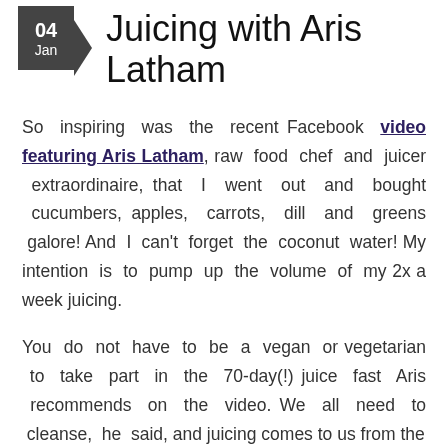04 Jan Juicing with Aris Latham
So inspiring was the recent Facebook video featuring Aris Latham, raw food chef and juicer extraordinaire, that I went out and bought cucumbers, apples, carrots, dill and greens galore! And I can't forget the coconut water! My intention is to pump up the volume of my 2x a week juicing.
You do not have to be a vegan or vegetarian to take part in the 70-day(!) juice fast Aris recommends on the video. We all need to cleanse, he said, and juicing comes to us from the...